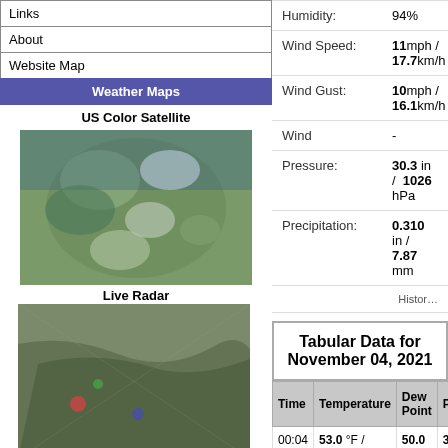Links
About
Website Map
Weather Maps
US Color Satellite
[Figure (photo): US color satellite image showing North America]
Live Radar
[Figure (photo): Live radar image showing western US coast]
Radar Tracker
[Figure (photo): Radar tracker image showing western US]
Lightning Radar
[Figure (photo): Lightning radar image]
| Humidity: | 94% |
| Wind Speed: | 11mph /  17.7km/h |
| Wind Gust: | 10mph /  16.1km/h |
| Wind | - |
| Pressure: | 30.3 in /  1026 hPa |
| Precipitation: | 0.310 in /  7.87 mm |
Tabular Data for November 04, 2021
| Time | Temperature | Dew Point | Pressure | Wind |
| --- | --- | --- | --- | --- |
| 00:04 | 53.0 °F /  11.7 °C | 50.0 °F /  10 °C | 30.2in /  1022.6hPa | Calm |
| 00:09 | 53.0 °F /  11.7 °C | 50.0 °F /  10 °C | 30.2in /  1022.6hPa | South |
| 00:14 | 53.0 °F /  11.7 °C | 50.0 °F /  10 °C | 30.2in /  1022.6hPa | South |
| 00:19 | 53.0 °F /  11.7 °C | 50.0 °F /  10 °C | 30.2in /  1022.6hPa | South |